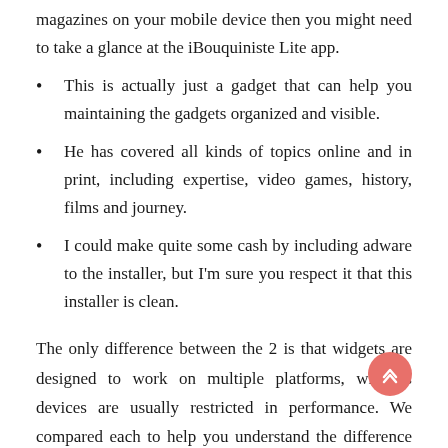magazines on your mobile device then you might need to take a glance at the iBouquiniste Lite app.
This is actually just a gadget that can help you maintaining the gadgets organized and visible.
He has covered all kinds of topics online and in print, including expertise, video games, history, films and journey.
I could make quite some cash by including adware to the installer, but I'm sure you respect it that this installer is clean.
The only difference between the 2 is that widgets are designed to work on multiple platforms, whereas devices are usually restricted in performance. We compared each to help you understand the difference between these two